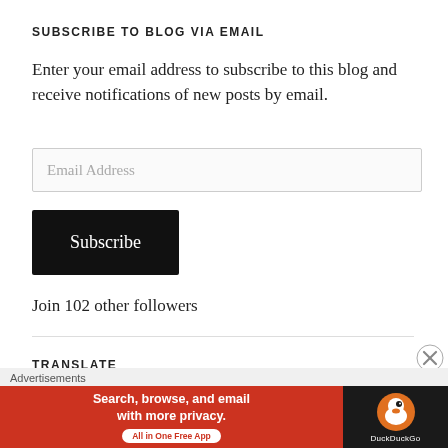SUBSCRIBE TO BLOG VIA EMAIL
Enter your email address to subscribe to this blog and receive notifications of new posts by email.
Email Address
Subscribe
Join 102 other followers
TRANSLATE
Select Language
Advertisements
[Figure (infographic): DuckDuckGo advertisement banner: 'Search, browse, and email with more privacy. All in One Free App' with DuckDuckGo logo on dark background]